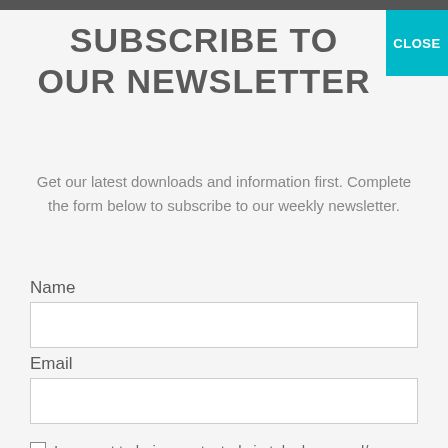[Figure (photo): Dark photo strip at top of page]
SUBSCRIBE TO OUR NEWSLETTER
Get our latest downloads and information first. Complete the form below to subscribe to our weekly newsletter.
Name
Email
I consent to being contacted via telephone and/or email and I consent to